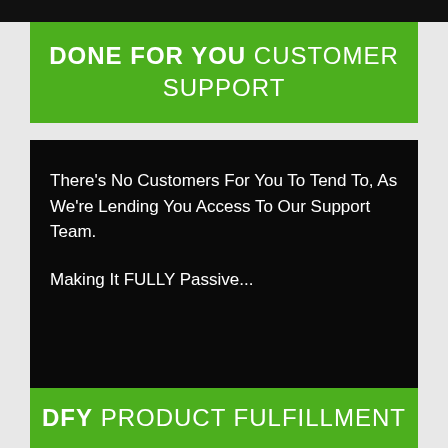DONE FOR YOU CUSTOMER SUPPORT
There's No Customers For You To Tend To, As We're Lending You Access To Our Support Team.

Making It FULLY Passive...
DFY PRODUCT FULFILLMENT